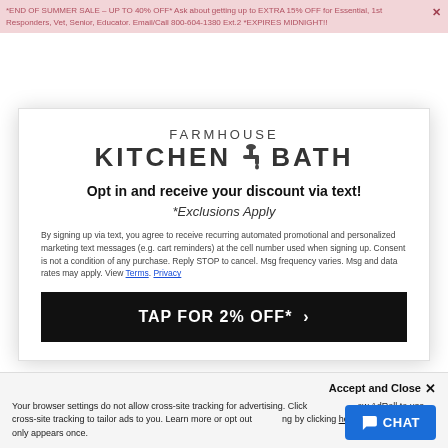*END OF SUMMER SALE – UP TO 40% OFF* Ask about getting up to EXTRA 15% OFF for Essential, 1st Responders, Vet, Senior, Educator. Email/Call 800-604-1380 Ext.2 *EXPIRES MIDNIGHT!!
[Figure (logo): Farmhouse Kitchen & Bath logo with faucet icon]
Opt in and receive your discount via text!
*Exclusions Apply
By signing up via text, you agree to receive recurring automated promotional and personalized marketing text messages (e.g. cart reminders) at the cell number used when signing up. Consent is not a condition of any purchase. Reply STOP to cancel. Msg frequency varies. Msg and data rates may apply. View Terms. Privacy
TAP FOR 2% OFF* >
Accept and Close ✕ Your browser settings do not allow cross-site tracking for advertising. Click to allow AdRoll to use cross-site tracking to tailor ads to you. Learn more or opt out of AdRoll tracking by clicking here. This message only appears once.